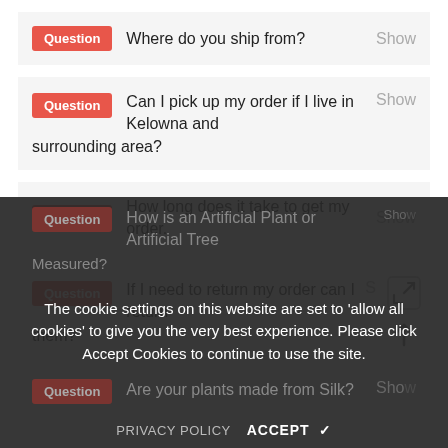Question  Where do you ship from?  Show
Question  Can I pick up my order if I live in Kelowna and surrounding area?  Show
Question  How long does it take to get my order.  Show
Question  If I need to return my order can I return them?  S[how]
Question  How is an Artificial Plant or Artificial Tree Measured?  [Show]
The cookie settings on this website are set to 'allow all cookies' to give you the very best experience. Please click Accept Cookies to continue to use the site.
Question  Are your plants made from Silk?  Sho[w]
PRIVACY POLICY   ACCEPT ✔